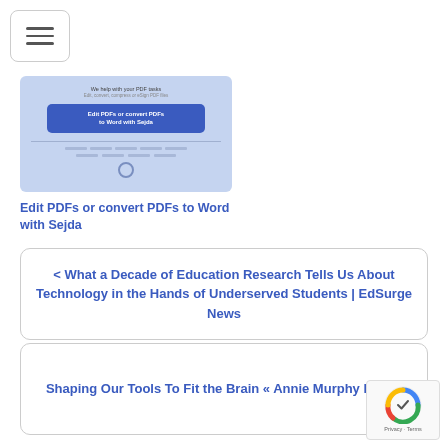[Figure (screenshot): Hamburger menu button icon with three horizontal lines]
[Figure (screenshot): Thumbnail image for Sejda PDF editor showing blue banner with text 'Edit PDFs or convert PDFs to Word with Sejda' and a screenshot of the tool interface]
Edit PDFs or convert PDFs to Word with Sejda
< What a Decade of Education Research Tells Us About Technology in the Hands of Underserved Students | EdSurge News
Shaping Our Tools To Fit the Brain « Annie Murphy Paul >
[Figure (logo): reCAPTCHA badge with Privacy and Terms links]